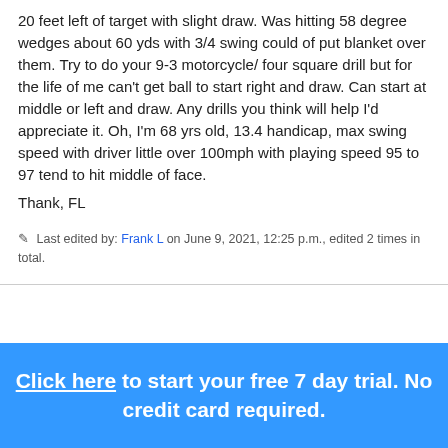20 feet left of target with slight draw. Was hitting 58 degree wedges about 60 yds with 3/4 swing could of put blanket over them. Try to do your 9-3 motorcycle/ four square drill but for the life of me can't get ball to start right and draw. Can start at middle or left and draw. Any drills you think will help I'd appreciate it. Oh, I'm 68 yrs old, 13.4 handicap, max swing speed with driver little over 100mph with playing speed 95 to 97 tend to hit middle of face.
Thank, FL
Last edited by: Frank L on June 9, 2021, 12:25 p.m., edited 2 times in total.
Re: Pulling the ball straight right
By: Tyler F on June 13, 2021, 9:23 a.m
Click here to start your free 7 day trial. No credit card required.